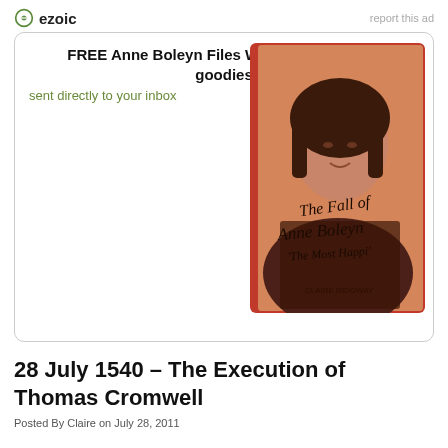ezoic   report this ad
[Figure (screenshot): Ad box with Anne Boleyn Files book image. Title: FREE Anne Boleyn Files Welcome Pack of 5 goodies. Subtitle: sent directly to your inbox. Book cover: The Fall of Anne Boleyn 'The Most Happi']
28 July 1540 – The Execution of Thomas Cromwell
Posted By Claire on July 28, 2011